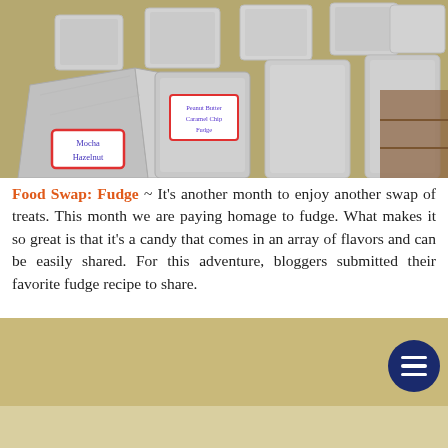[Figure (photo): Foil-wrapped fudge packages arranged on a table, with handwritten labels including 'Mocha Hazelnut' and other flavors visible]
Food Swap: Fudge ~ It's another month to enjoy another swap of treats. This month we are paying homage to fudge. What makes it so great is that it's a candy that comes in an array of flavors and can be easily shared. For this adventure, bloggers submitted their favorite fudge recipe to share.
[Figure (photo): Close-up of foil-wrapped fudge packages in a red bowl, with labels reading 'Peanut Butter Caramel Chip Fudge' and 'Dark Chocolate', with a blue circular menu button overlay]
[Figure (photo): Plastic bags with fudge labeled 'Mocha Hazelnut' and 'Chocolate Cheese']